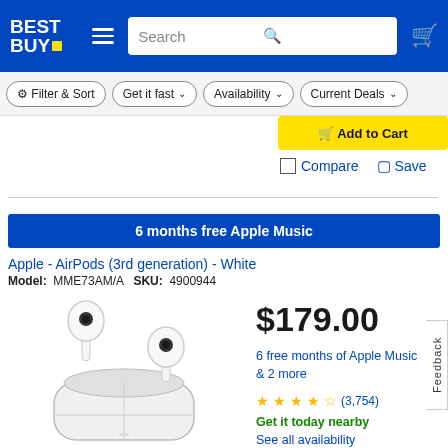Best Buy — Search bar — Cart
Filter & Sort  Get it fast  Availability  Current Deals
Add to Cart
Compare  Save
6 months free Apple Music
Apple - AirPods (3rd generation) - White
Model: MME73AM/A  SKU: 4900944
[Figure (photo): Apple AirPods 3rd generation in white, showing two earbuds in their charging case]
$179.00
6 free months of Apple Music & 2 more
★★★★½ (3,754)
Get it today nearby
See all availability